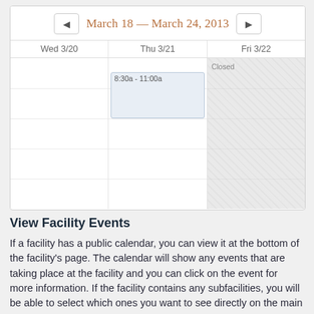[Figure (screenshot): A weekly calendar view for March 18 – March 24, 2013, showing three columns: Wed 3/20, Thu 3/21, Fri 3/22. Thu 3/21 has an event block labeled '8:30a - 11:00a'. Fri 3/22 is marked as 'Closed' with a hatched/shaded overlay. Navigation arrows are on either side of the date range header.]
View Facility Events
If a facility has a public calendar, you can view it at the bottom of the facility's page. The calendar will show any events that are taking place at the facility and you can click on the event for more information. If the facility contains any subfacilities, you will be able to select which ones you want to see directly on the main facility's calendar. Sign up for iCal Updates in order to add events to your own personal calendars automatically!